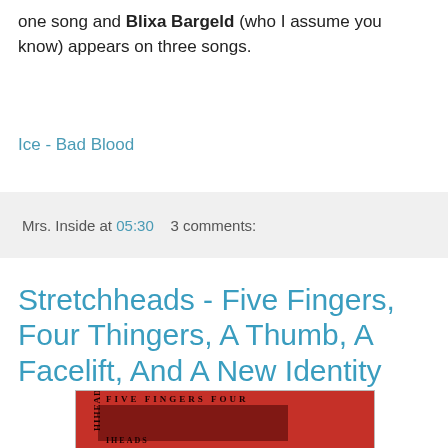one song and Blixa Bargeld (who I assume you know) appears on three songs.
Ice - Bad Blood
Mrs. Inside at 05:30   3 comments:
Stretchheads - Five Fingers, Four Thingers, A Thumb, A Facelift, And A New Identity
[Figure (photo): Album cover for Stretchheads - Five Fingers, Four Thingers, A Thumb, A Facelift, And A New Identity. Red/dark red album artwork with band and album title text.]